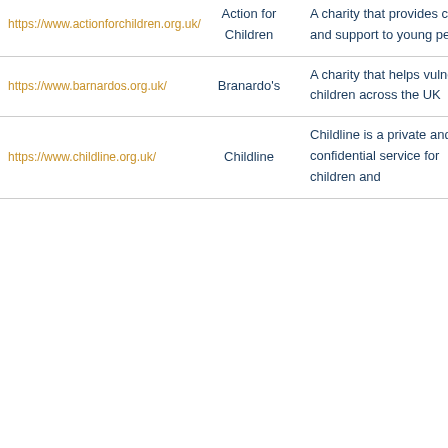| https://www.actionforchildren.org.uk/ | Action for Children | A charity that provides care and support to young people |
| https://www.barnardos.org.uk/ | Branardo's | A charity that helps vulnerable children across the UK |
| https://www.childline.org.uk/ | Childline | Childline is a private and confidential service for children and |